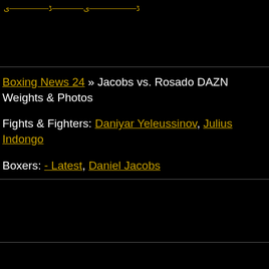Boxing News 24
Boxing News 24 » Jacobs vs. Rosado DAZN Weights & Photos
Fights & Fighters: Daniyar Yeleussinov, Julius Indongo
Boxers: - Latest, Daniel Jacobs